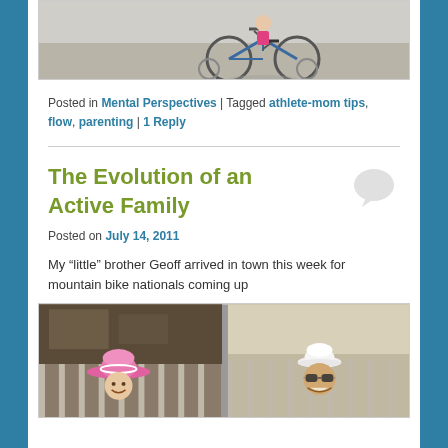[Figure (photo): Photo of a child on a bicycle with training wheels on a sidewalk]
Posted in Mental Perspectives | Tagged athlete-mom tips, flow, parenting | 1 Reply
The Evolution of an Active Family
Posted on July 14, 2011
My “little” brother Geoff arrived in town this week for mountain bike nationals coming up
[Figure (photo): Two photos side by side: a person wearing a pink cowboy hat and a man wearing a white cap with sunglasses, both near a fence]